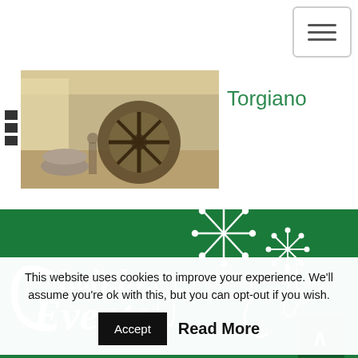[Figure (screenshot): Navigation bar with hamburger menu button (three horizontal lines) in top right corner]
[Figure (illustration): List/grid toggle icon with rows of dots and lines, indicating list view]
[Figure (photo): Museum interior photo showing a large wheel or millstone artifact in a bright room]
Torgiano
[Figure (logo): Italy by Events logo on green background with fireworks and Italian boot map outline in white]
This website uses cookies to improve your experience. We'll assume you're ok with this, but you can opt-out if you wish.
Accept
Read More